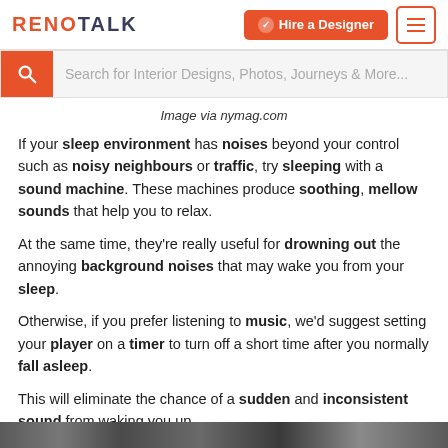RENOTALK | Hire a Designer
[Figure (screenshot): Search bar with orange search icon and placeholder text 'Search for Interior Designs, Photos, Journeys & More...']
Image via nymag.com
If your sleep environment has noises beyond your control such as noisy neighbours or traffic, try sleeping with a sound machine. These machines produce soothing, mellow sounds that help you to relax.
At the same time, they're really useful for drowning out the annoying background noises that may wake you from your sleep.
Otherwise, if you prefer listening to music, we'd suggest setting your player on a timer to turn off a short time after you normally fall asleep.
This will eliminate the chance of a sudden and inconsistent sound from waking you up.